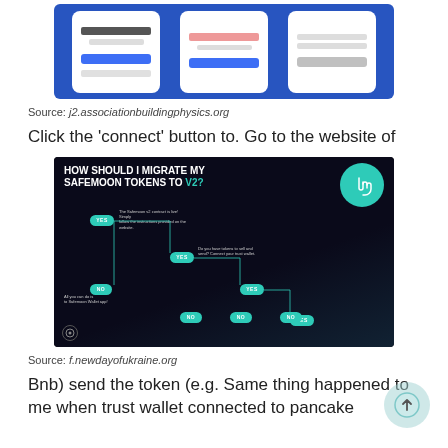[Figure (screenshot): Three mobile phone mockups showing wallet app screens on a blue background]
Source: j2.associationbuildingphysics.org
Click the 'connect' button to. Go to the website of
[Figure (flowchart): Flowchart titled 'HOW SHOULD I MIGRATE MY SAFEMOON TOKENS TO V2?' with YES/NO decision nodes on dark background, teal circle with hand icon labeled CLICK TO EXPAND]
Source: f.newdayofukraine.org
Bnb) send the token (e.g. Same thing happened to me when trust wallet connected to pancake